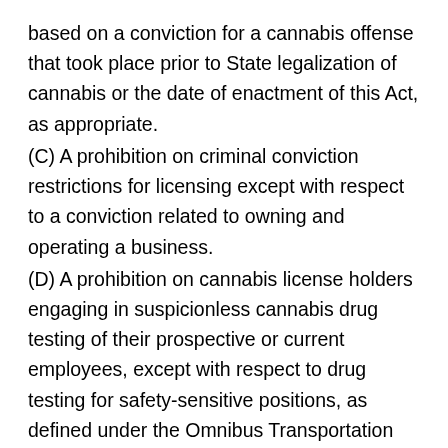based on a conviction for a cannabis offense that took place prior to State legalization of cannabis or the date of enactment of this Act, as appropriate.
(C) A prohibition on criminal conviction restrictions for licensing except with respect to a conviction related to owning and operating a business.
(D) A prohibition on cannabis license holders engaging in suspicionless cannabis drug testing of their prospective or current employees, except with respect to drug testing for safety-sensitive positions, as defined under the Omnibus Transportation Testing Act of 1991.
(E) The establishment of a cannabis licensing board that is reflective of the racial, ethnic, economic, and gender composition of the State or locality, to serve as an oversight body of the equitable licensing program.